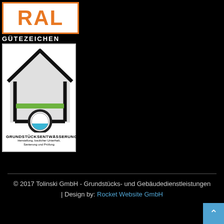[Figure (logo): RAL Gütezeichen logo for Grundstücksentwässerung (property drainage) - showing RAL text in orange box, GÜTEZEICHEN text, and an image of a house with green bar and pipe circle, with text 'GRUNDSTÜCKSENTWÄSSERUNG Herstellung, baulicher Unterhalt, Sanierung und Prüfung']
© 2017 Tolinski GmbH - Grundstücks- und Gebäudedienstleistungen | Design by: Rocket Website GmbH